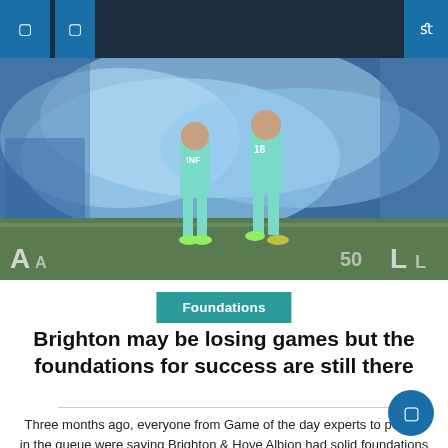Navigation bar with menu icons and search
[Figure (photo): Football players in teal/mint jerseys on a pitch with blue smoke in the background and stadium crowd. Player wearing number 18 visible.]
Foundations
Brighton may be losing games but the foundations for success are still there
Three months ago, everyone from Game of the day experts to people in the queue were saying Brighton & Hove Albion had solid foundations as a club in terms of facilities, set-up, management and squad and we were firmly in the top 10 but for lack of clinical finish. Graham Potter has been praised weekly [...]